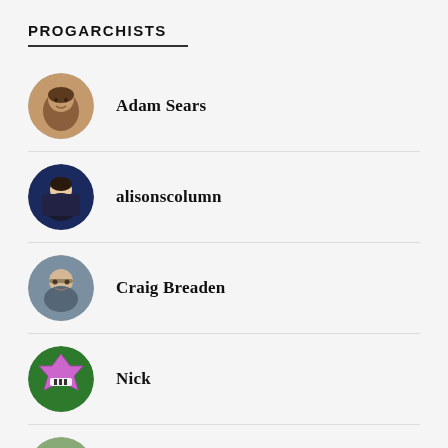PROGARCHISTS
Adam Sears
alisonscolumn
Craig Breaden
Nick
bradbirzer